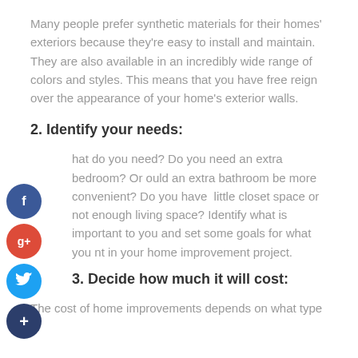Many people prefer synthetic materials for their homes' exteriors because they're easy to install and maintain. They are also available in an incredibly wide range of colors and styles. This means that you have free reign over the appearance of your home's exterior walls.
2. Identify your needs:
What do you need? Do you need an extra bedroom? Or would an extra bathroom be more convenient? Do you have little closet space or not enough living space? Identify what is important to you and set some goals for what you want in your home improvement project.
3. Decide how much it will cost:
The cost of home improvements depends on what type of